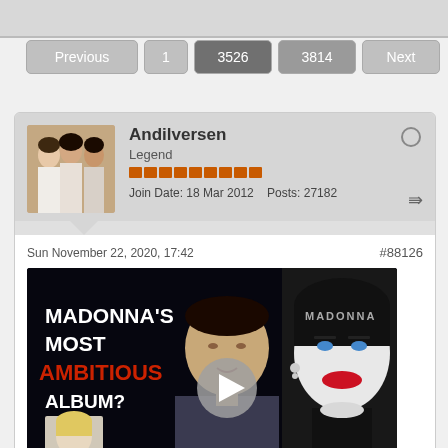[Figure (screenshot): Top gray navigation bar]
Previous  1  3526  3814  Next
Andilversen
Legend
Join Date: 18 Mar 2012   Posts: 27182
Sun November 22, 2020, 17:42   #88126
[Figure (screenshot): Video thumbnail: MADONNA'S MOST AMBITIOUS ALBUM? with play button overlay showing a man and Madonna]